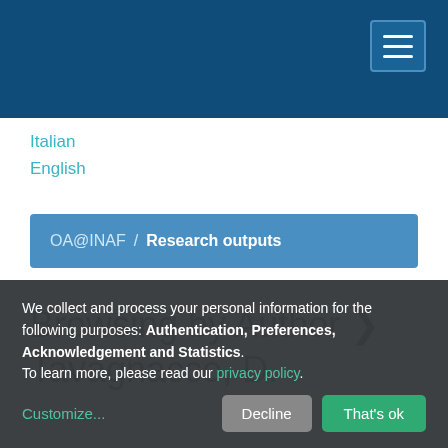OA@INAF navigation header
Italian
English
OA@INAF / Research outputs
Browsing by Author > Tavagnacco, D.
We collect and process your personal information for the following purposes: Authentication, Preferences, Acknowledgement and Statistics. To learn more, please read our privacy policy.
Customize... Decline That's ok